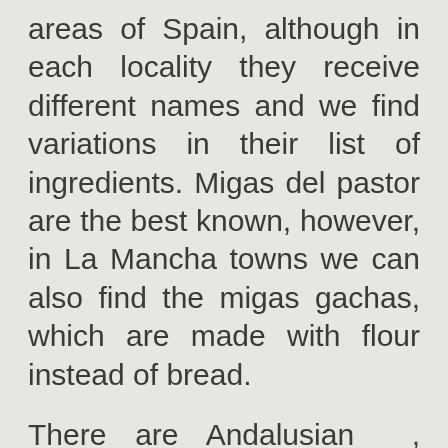areas of Spain, although in each locality they receive different names and we find variations in their list of ingredients. Migas del pastor are the best known, however, in La Mancha towns we can also find the migas gachas, which are made with flour instead of bread.
There are Andalusian , Extremaduran , Aragonese crumbs ..., all with some different ingredients that